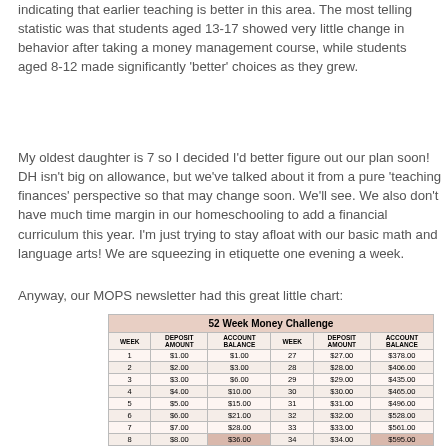indicating that earlier teaching is better in this area. The most telling statistic was that students aged 13-17 showed very little change in behavior after taking a money management course, while students aged 8-12 made significantly 'better' choices as they grew.
My oldest daughter is 7 so I decided I'd better figure out our plan soon! DH isn't big on allowance, but we've talked about it from a pure 'teaching finances' perspective so that may change soon. We'll see. We also don't have much time margin in our homeschooling to add a financial curriculum this year. I'm just trying to stay afloat with our basic math and language arts! We are squeezing in etiquette one evening a week.
Anyway, our MOPS newsletter had this great little chart:
[Figure (table-as-image): 52 Week Money Challenge table showing Week, Deposit Amount, Account Balance for weeks 1-7 and 27-33]